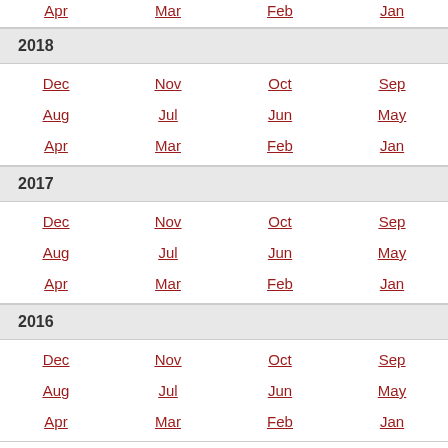Apr  Mar  Feb  Jan
2018
Dec  Nov  Oct  Sep  Aug  Jul  Jun  May  Apr  Mar  Feb  Jan
2017
Dec  Nov  Oct  Sep  Aug  Jul  Jun  May  Apr  Mar  Feb  Jan
2016
Dec  Nov  Oct  Sep  Aug  Jul  Jun  May  Apr  Mar  Feb  Jan